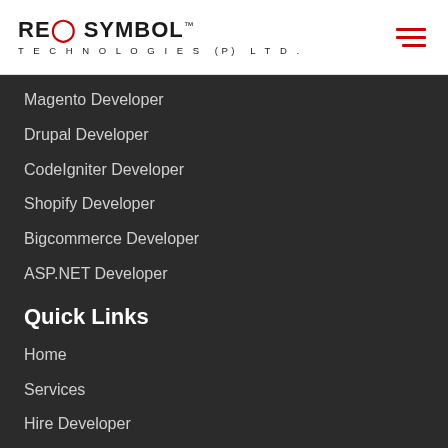[Figure (logo): Red Symbol Technologies (P) Ltd. logo with red circle/O in 'RED' and 'TECHNOLOGIES (P) LTD.' tagline below]
Magento Developer
Drupal Developer
CodeIgniter Developer
Shopify Developer
Bigcommerce Developer
ASP.NET Developer
Quick Links
Home
Services
Hire Developer
Portfolio
Company
Sitemap